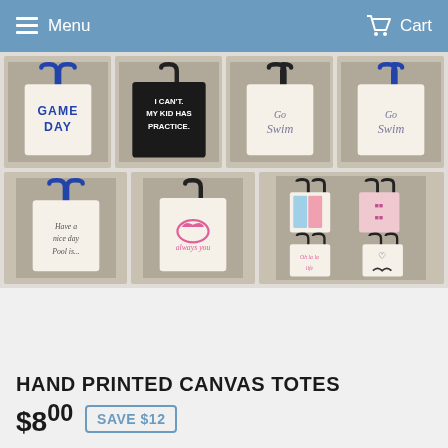Menu  Cart
[Figure (photo): Grid of 7 hand printed canvas tote bags with various designs: Game Day (blue handles), I Can't My Kid Has Practice (black bag), Go Swim (script, black handles), Go Swim (script, blue handles), Have a Nice Day (blue handles), a crown/cat design (black handles), and a set of small ballet/dance themed totes]
HAND PRINTED CANVAS TOTES
$8.00  SAVE $12